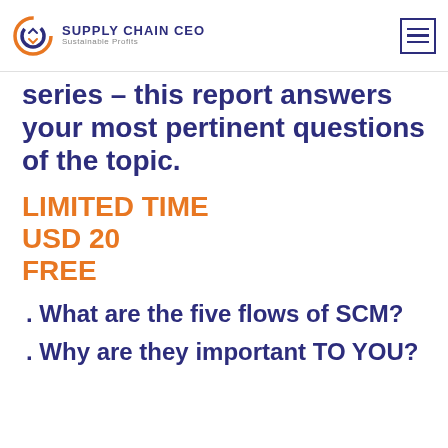SUPPLY CHAIN CEO Sustainable Profits
series – this report answers your most pertinent questions of the topic.
LIMITED TIME
USD 20
FREE
. What are the five flows of SCM?
. Why are they important TO YOU?